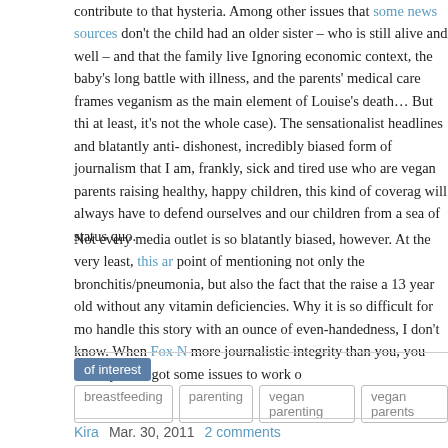contribute to that hysteria. Among other issues that some news sources don't the child had an older sister – who is still alive and well – and that the family live Ignoring economic context, the baby's long battle with illness, and the parents' medical care frames veganism as the main element of Louise's death… But thi at least, it's not the whole case). The sensationalist headlines and blatantly anti dishonest, incredibly biased form of journalism that I am, frankly, sick and tired use who are vegan parents raising healthy, happy children, this kind of coverag will always have to defend ourselves and our children from a sea of status quo.
Not every media outlet is so blatantly biased, however. At the very least, this ar point of mentioning not only the bronchitis/pneumonia, but also the fact that the raise a 13 year old without any vitamin deficiencies. Why it is so difficult for mo handle this story with an ounce of even-handedness, I don't know. When Fox N more journalistic integrity than you, you know you've got some issues to work o
of interest
breastfeeding
parenting
vegan parenting
vegan parents
Kira   Mar. 30, 2011   2 comments
Related Posts
2020 05 02   #OurNewNormal | Stacy Owens of Half Moon Bay, California